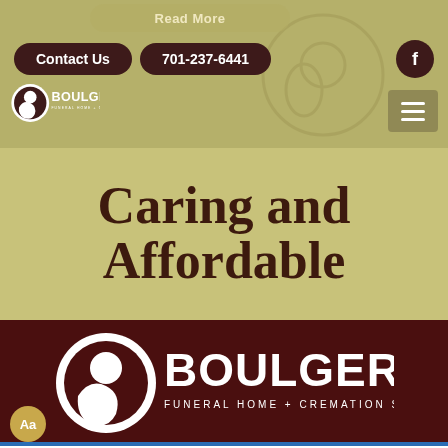Read More
Contact Us
701-237-6441
[Figure (logo): Boulger Funeral Home + Cremation Services logo (small, top nav)]
Caring and Affordable
[Figure (logo): Boulger Funeral Home + Cremation Services logo (large, footer)]